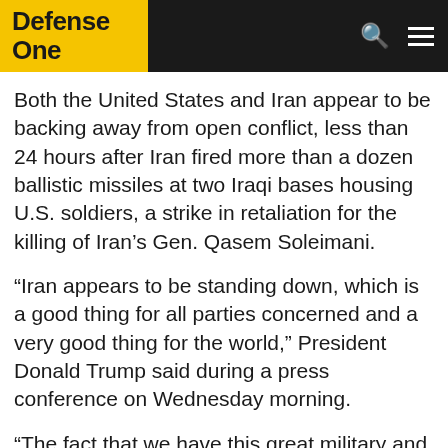Defense One
Both the United States and Iran appear to be backing away from open conflict, less than 24 hours after Iran fired more than a dozen ballistic missiles at two Iraqi bases housing U.S. soldiers, a strike in retaliation for the killing of Iran’s Gen. Qasem Soleimani.
“Iran appears to be standing down, which is a good thing for all parties concerned and a very good thing for the world,” President Donald Trump said during a press conference on Wednesday morning.
“The fact that we have this great military and equipment…does not mean we have to use it. We do not want to use it,” Trump said. “American strength, both military and economic, is the best deterrent.”
· · · · · · Story Continues Below Sponsor Message · · · · · ·